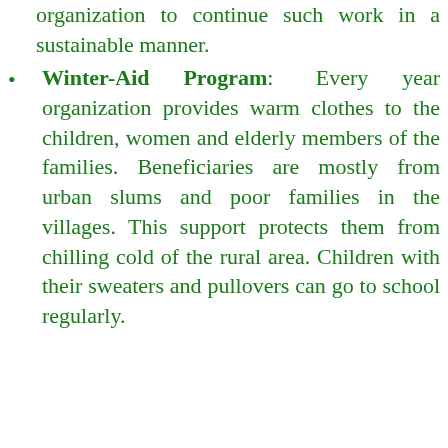organization to continue such work in a sustainable manner.
Winter-Aid Program: Every year organization provides warm clothes to the children, women and elderly members of the families. Beneficiaries are mostly from urban slums and poor families in the villages. This support protects them from chilling cold of the rural area. Children with their sweaters and pullovers can go to school regularly.